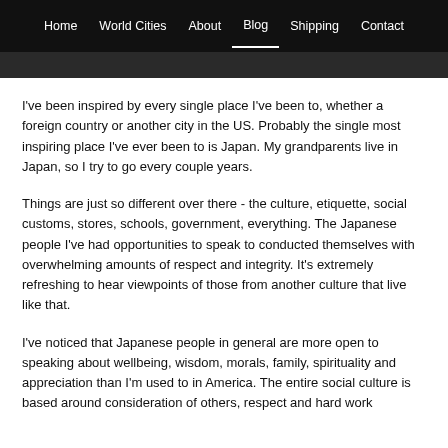Home | World Cities | About | Blog | Shipping | Contact
[Figure (photo): Partial image strip visible at top of page, appears to be a cityscape or street scene, mostly dark/obscured]
I've been inspired by every single place I've been to, whether a foreign country or another city in the US. Probably the single most inspiring place I've ever been to is Japan. My grandparents live in Japan, so I try to go every couple years.
Things are just so different over there - the culture, etiquette, social customs, stores, schools, government, everything. The Japanese people I've had opportunities to speak to conducted themselves with overwhelming amounts of respect and integrity. It's extremely refreshing to hear viewpoints of those from another culture that live like that.
I've noticed that Japanese people in general are more open to speaking about wellbeing, wisdom, morals, family, spirituality and appreciation than I'm used to in America. The entire social culture is based around consideration of others, respect and hard work